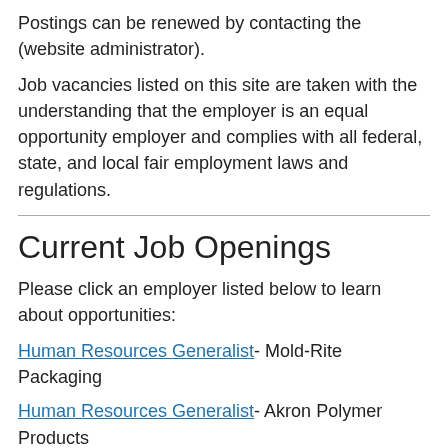Postings can be renewed by contacting the (website administrator).
Job vacancies listed on this site are taken with the understanding that the employer is an equal opportunity employer and complies with all federal, state, and local fair employment laws and regulations.
Current Job Openings
Please click an employer listed below to learn about opportunities:
Human Resources Generalist- Mold-Rite Packaging
Human Resources Generalist- Akron Polymer Products
Human Resources Coordinator- ViaQuest